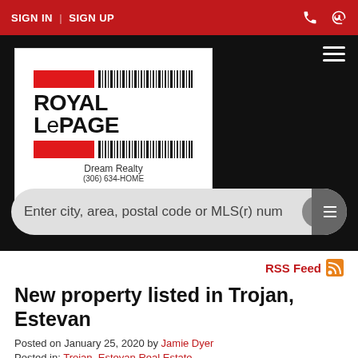SIGN IN | SIGN UP
[Figure (logo): Royal LePage Dream Realty logo with red bars, barcode-style graphic, and text. Phone: (306) 634-HOME]
Enter city, area, postal code or MLS(r) num
RSS Feed
New property listed in Trojan, Estevan
Posted on January 25, 2020 by Jamie Dyer
Posted in: Trojan, Estevan Real Estate